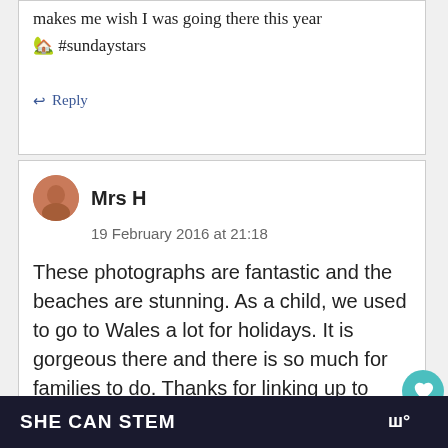makes me wish I was going there this year
🏡 #sundaystars
↩ Reply
Mrs H
19 February 2016 at 21:18
These photographs are fantastic and the beaches are stunning. As a child, we used to go to Wales a lot for holidays. It is gorgeous there and there is so much for families to do. Thanks for linking up to
SHE CAN STEM